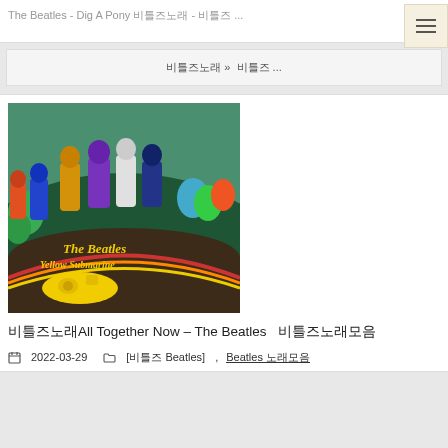The Beatles - Dig A Pony 비틀즈노래 - 비틀즈 ...
비틀즈노래 » 비틀즈 ...
[Figure (illustration): The Beatles Yellow Submarine album cover artwork showing animated cartoon figures of the four Beatles standing on a hill with colorful psychedelic characters, with yellow text reading 'The Beatles Yellow Submarine' at the bottom and a yellow submarine illustration]
비틀즈노래All Together Now – The Beatles   비틀즈노래모음
2022-03-29  [비틀즈 Beatles] ,  Beatles 노래모음